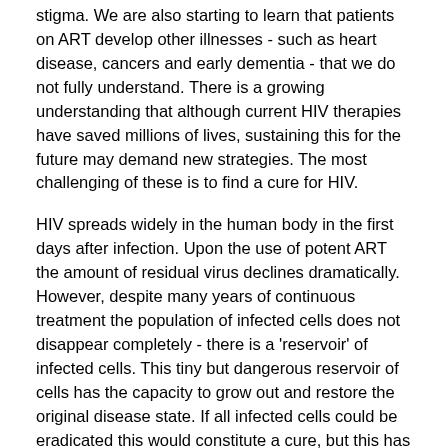stigma. We are also starting to learn that patients on ART develop other illnesses - such as heart disease, cancers and early dementia - that we do not fully understand. There is a growing understanding that although current HIV therapies have saved millions of lives, sustaining this for the future may demand new strategies. The most challenging of these is to find a cure for HIV.
HIV spreads widely in the human body in the first days after infection. Upon the use of potent ART the amount of residual virus declines dramatically. However, despite many years of continuous treatment the population of infected cells does not disappear completely - there is a 'reservoir' of infected cells. This tiny but dangerous reservoir of cells has the capacity to grow out and restore the original disease state. If all infected cells could be eradicated this would constitute a cure, but this has only been achieved in one individual and involved the radical step of bone marrow transplantation as well as potent chemotherapy - not a solution applicable to the millions of infected people.
The research will tackle key questions that need to be answered to